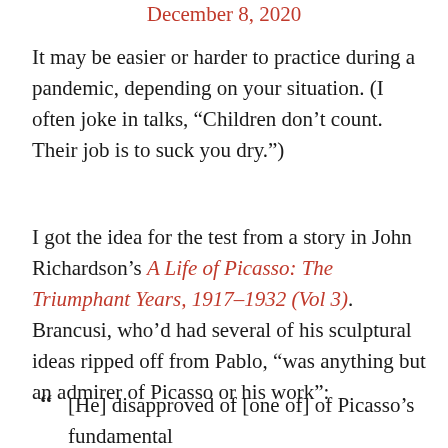December 8, 2020
It may be easier or harder to practice during a pandemic, depending on your situation. (I often joke in talks, “Children don’t count. Their job is to suck you dry.”)
I got the idea for the test from a story in John Richardson’s A Life of Picasso: The Triumphant Years, 1917–1932 (Vol 3). Brancusi, who’d had several of his sculptural ideas ripped off from Pablo, “was anything but an admirer of Picasso or his work”:
“ [He] disapproved of [one of] of Picasso’s fundamental